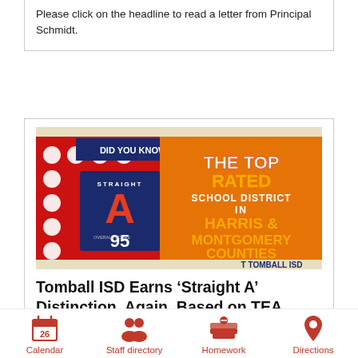Please click on the headline to read a letter from Principal Schmidt.
[Figure (infographic): Tomball ISD promotional banner: 'Did You Know? The Top Rated School District in Harris & Montgomery Counties' with Straight A rating and score of 95.]
Tomball ISD Earns ‘Straight A’ Distinction, Again, Based on TEA Accountability Ratings
Calendar
Staff directory
Homework
Directions